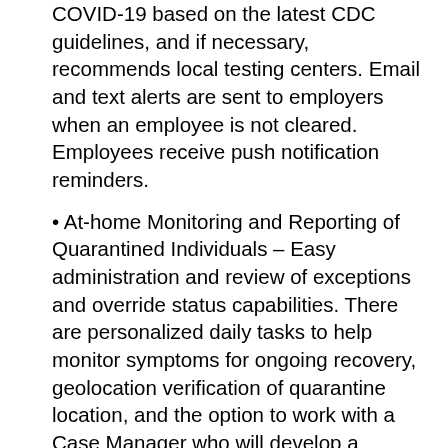COVID-19 based on the latest CDC guidelines, and if necessary, recommends local testing centers. Email and text alerts are sent to employers when an employee is not cleared. Employees receive push notification reminders.
At-home Monitoring and Reporting of Quarantined Individuals – Easy administration and review of exceptions and override status capabilities. There are personalized daily tasks to help monitor symptoms for ongoing recovery, geolocation verification of quarantine location, and the option to work with a Case Manager who will develop a personalized Plan of Care for infected people's specific needs. COVID Navigator also includes at-home monitoring.
Cleared or Not Cleared for Work – Configurable algorithm calculates if an individual is cleared for work or not cleared for work each calendar day. Employees are asked to complete daily tasks including but not limited to input of temperature